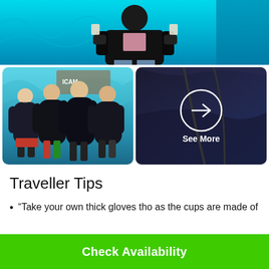[Figure (photo): Person in black puffy jacket holding drinks in an ice bar with teal/cyan illuminated ice walls]
[Figure (photo): Group of four people (adults and children) wearing large black puffy jackets, smiling in front of blue ice wall]
[Figure (photo): Dark close-up photo with a circular arrow button overlay and 'See More' text label]
Traveller Tips
"Take your own thick gloves tho as the cups are made of
Check Availability